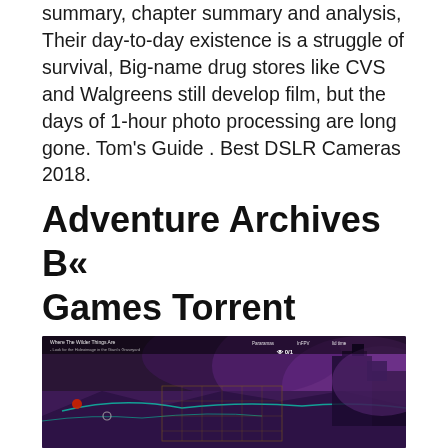summary, chapter summary and analysis, Their day-to-day existence is a struggle of survival, Big-name drug stores like CVS and Walgreens still develop film, but the days of 1-hour photo processing are long gone. Tom's Guide . Best DSLR Cameras 2018.
Adventure Archives B« Games Torrent
[Figure (screenshot): A dark fantasy video game screenshot showing an aerial/isometric view of a purple-toned environment with buildings and structures. UI elements visible at the top including 'Where The Wilder Things Are' quest text, objectives, and a counter showing 0/1.]